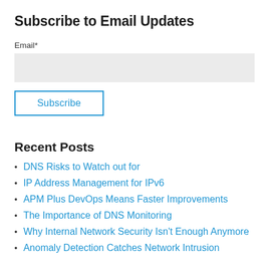Subscribe to Email Updates
Email*
Recent Posts
DNS Risks to Watch out for
IP Address Management for IPv6
APM Plus DevOps Means Faster Improvements
The Importance of DNS Monitoring
Why Internal Network Security Isn't Enough Anymore
Anomaly Detection Catches Network Intrusion